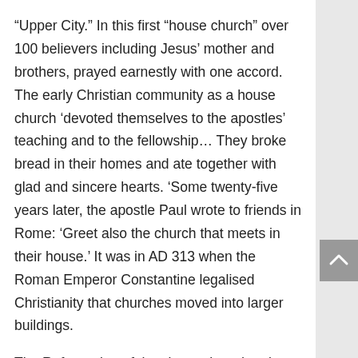“Upper City.” In this first “house church” over 100 believers including Jesus’ mother and brothers, prayed earnestly with one accord. The early Christian community as a house church ‘devoted themselves to the apostles’ teaching and to the fellowship… They broke bread in their homes and ate together with glad and sincere hearts. ‘Some twenty-five years later, the apostle Paul wrote to friends in Rome: ‘Greet also the church that meets in their house.’ It was in AD 313 when the Roman Emperor Constantine legalised Christianity that churches moved into larger buildings.
The Reformation of the sixteenth and early seventeenth centuries ‘fostered new churches as Protestants built their own places of worship.  Yet in every century Christians have met in homes in small